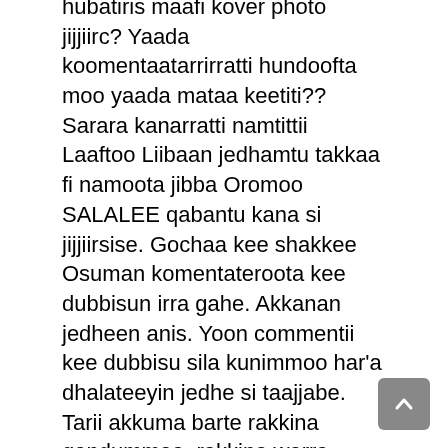hubatiris maafi kover photo jijjiirc? Yaada koomentaatarrirratti hundoofta moo yaada mataa keetiti?? Sarara kanarratti namtittii Laaftoo Liibaan jedhamtu takkaa fi namoota jibba Oromoo SALALEE qabantu kana si jijjiirsise. Gochaa kee shakkee Osuman komentateroota kee dubbisun irra gahe. Akkanan jedheen anis. Yoon commentii kee dubbisu sila kunimmoo har'a dhalateeyin jedhe si taajjabe. Tarii akkuma barte rakkina gandummaa, rakkina warra nabiyyuu fi warra luutar san yoo qabaatte hin beeku MALEE kuni uffanni aadaa warra SADEEN TUULAMAATI. Salaale jechuu kooti. Uffanni Warra Kaaba shawaatti uffatamu tokko isa kana ta'ee kan biroos, shaaman, wandaboon, dirbadiriin, fi qamisiin dubartoota warra tuulamaa hedduutu jira. Uffatoota aadaa Kaaba shawaa kanniin Sirba Hailu Kitaabaa